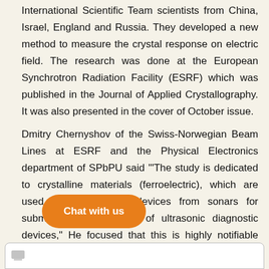International Scientific Team scientists from China, Israel, England and Russia. They developed a new method to measure the crystal response on electric field. The research was done at the European Synchrotron Radiation Facility (ESRF) which was published in the Journal of Applied Crystallography. It was also presented in the cover of October issue.
Dmitry Chernyshov of the Swiss-Norwegian Beam Lines at ESRF and the Physical Electronics department of SPbPU said '"The study is dedicated to crystalline materials (ferroelectric), which are used in a variety of devices from sonars for submarines to elements of ultrasonic diagnostic devices," He focused that this is highly notifiable task in sci[ence to investigate t]he characteristics of such material fou[nd in rocks, m]inerals, and gemstones.